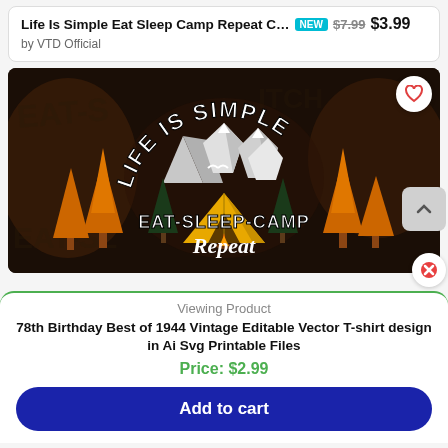Life Is Simple Eat Sleep Camp Repeat C… NEW $7.99 $3.99 by VTD Official
[Figure (photo): T-shirt design with dark background showing 'Life Is Simple Eat-Sleep-Camp Repeat' text with camping scene including mountains, orange trees, yellow tent, and bird]
Viewing Product
78th Birthday Best of 1944 Vintage Editable Vector T-shirt design in Ai Svg Printable Files
Price: $2.99
Add to cart